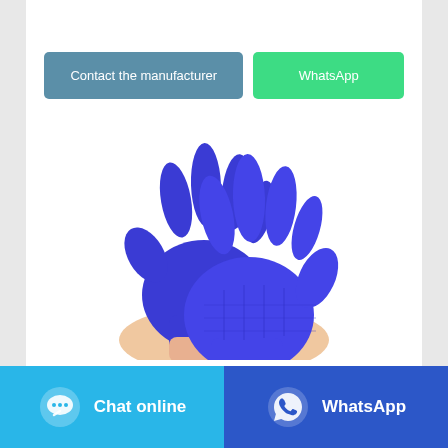[Figure (other): Two hands wearing blue nitrile medical exam gloves raised against white background]
Medical Exam Gloves | Cardinal
Contact the manufacturer
WhatsApp
Chat online   WhatsApp